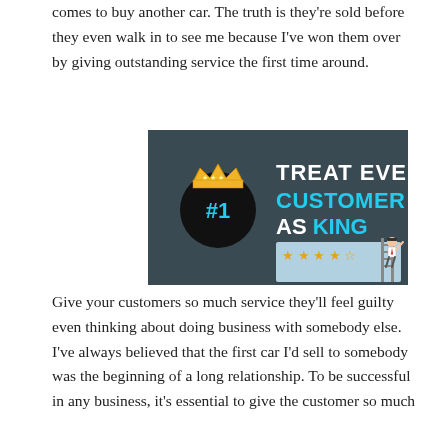comes to buy another car. The truth is they're sold before they even walk in to see me because I've won them over by giving outstanding service the first time around.
[Figure (infographic): Infographic with dark chalkboard background. Left side shows a black circle with a gold crown on top and '#1' in cyan text. Right side shows bold white text 'TREAT EVERY' and cyan text 'CUSTOMER AS KING'. Bottom right shows a light blue panel with five gold stars and a cartoon figure of a businessman standing on a ladder reaching toward the stars.]
Give your customers so much service they'll feel guilty even thinking about doing business with somebody else. I've always believed that the first car I'd sell to somebody was the beginning of a long relationship. To be successful in any business, it's essential to give the customer so much